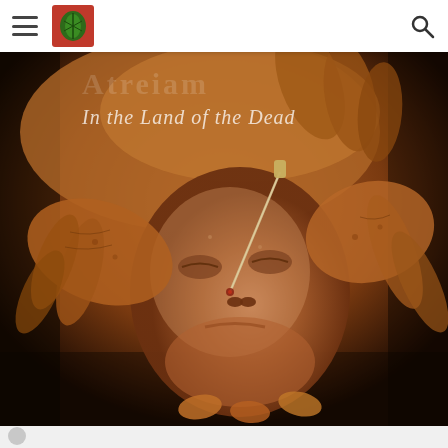Navigation header with hamburger menu, site logo (green leaf emblem), and search icon
[Figure (photo): Album cover for 'Atreiam - In the Land of the Dead'. Shows a dark, earthy-toned image of a mummified or decayed human face with closed eyes and a needle/pin inserted through it, held by wrinkled aged hands. The album title text 'In the Land of the Dead' appears in white at the top left over the image.]